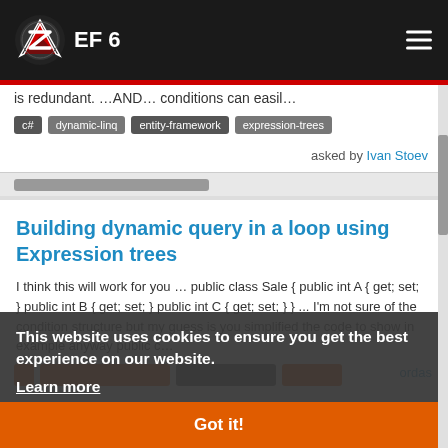EF 6
is redundant. …AND… conditions can easil…
c# dynamic-linq entity-framework expression-trees
asked by Ivan Stoev
Building dynamic query in a loop using Expression trees
I think this will work for you … public class Sale { public int A { get; set; } public int B { get; set; } public int C { get; set; } } ... I'm not sure of the condition structure but my guess is you simplified the code to show in example anyway public c…
This website uses cookies to ensure you get the best experience on our website.
Learn more
Got it!